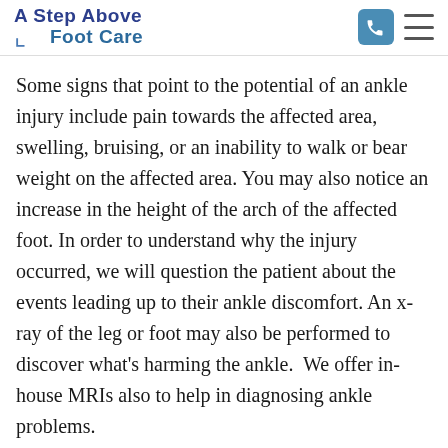A Step Above Foot Care
Some signs that point to the potential of an ankle injury include pain towards the affected area, swelling, bruising, or an inability to walk or bear weight on the affected area. You may also notice an increase in the height of the arch of the affected foot. In order to understand why the injury occurred, we will question the patient about the events leading up to their ankle discomfort. An x-ray of the leg or foot may also be performed to discover what's harming the ankle.  We offer in-house MRIs also to help in diagnosing ankle problems.
There are many different types of ankle injuries, such